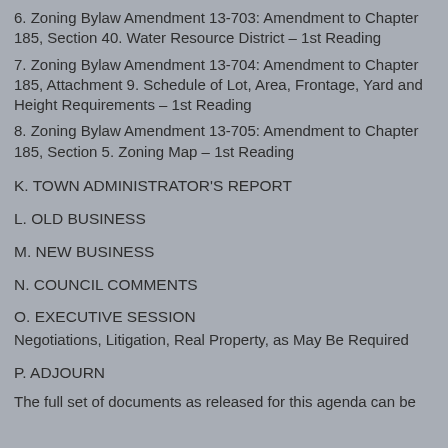6. Zoning Bylaw Amendment 13-703: Amendment to Chapter 185, Section 40. Water Resource District – 1st Reading
7. Zoning Bylaw Amendment 13-704: Amendment to Chapter 185, Attachment 9. Schedule of Lot, Area, Frontage, Yard and Height Requirements – 1st Reading
8. Zoning Bylaw Amendment 13-705: Amendment to Chapter 185, Section 5. Zoning Map – 1st Reading
K. TOWN ADMINISTRATOR'S REPORT
L. OLD BUSINESS
M. NEW BUSINESS
N. COUNCIL COMMENTS
O. EXECUTIVE SESSION
Negotiations, Litigation, Real Property, as May Be Required
P. ADJOURN
The full set of documents as released for this agenda can be